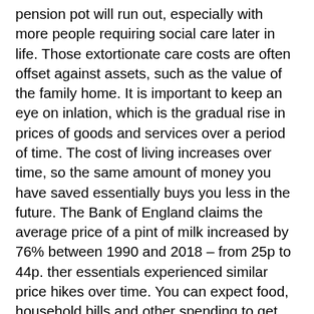pension pot will run out, especially with more people requiring social care later in life. Those extortionate care costs are often offset against assets, such as the value of the family home. It is important to keep an eye on inlation, which is the gradual rise in prices of goods and services over a period of time. The cost of living increases over time, so the same amount of money you have saved essentially buys you less in the future. The Bank of England claims the average price of a pint of milk increased by 76% between 1990 and 2018 – from 25p to 44p. ther essentials experienced similar price hikes over time. You can expect food, household bills and other spending to get more expensive as the years roll by. In reality, nobody has a crystal ball to tell them how long their retirement savings will last. It depends on how long you live, your outgoings when you retire, and the post-retirement lifestyle you choose to lead. Two things are certain: irst, the earlier you start saving, the earlier you can expect to retire; secondly, we can help you form a retirement strategy tailored to suit your needs.